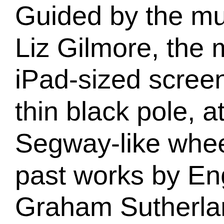Guided by the must- Liz Gilmore, the ma iPad-sized screen m thin black pole, atta Segway-like wheels past works by Engli Graham Sutherland to a rainbow-colore Anne Ryan, the Am